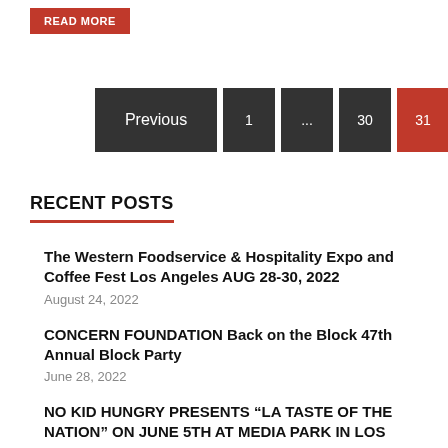READ MORE
Previous 1 ... 30 31
RECENT POSTS
The Western Foodservice & Hospitality Expo and Coffee Fest Los Angeles AUG 28-30, 2022
August 24, 2022
CONCERN FOUNDATION Back on the Block 47th Annual Block Party
June 28, 2022
NO KID HUNGRY PRESENTS "LA TASTE OF THE NATION" ON JUNE 5TH AT MEDIA PARK IN LOS